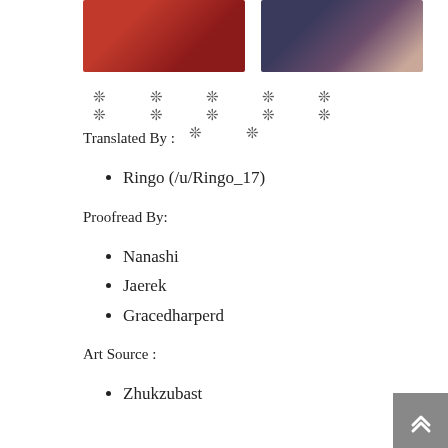[Figure (illustration): Two manga/anime style illustrations side by side: left shows a character in red clothing, right shows two characters in dark and muted tones]
❊  ❊  ❊  ❊  ❊  ❊  ❊  ❊  ❊  ❊  ❊  ❊
Translated By :
Ringo (/u/Ringo_17)
Proofread By:
Nanashi
Jaerek
Gracedharperd
Art Source :
Zhukzubast